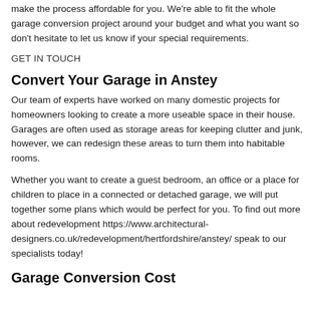also take a look at this and decide on the best course of action to make the process affordable for you. We're able to fit the whole garage conversion project around your budget and what you want so don't hesitate to let us know if your special requirements.
GET IN TOUCH
Convert Your Garage in Anstey
Our team of experts have worked on many domestic projects for homeowners looking to create a more useable space in their house. Garages are often used as storage areas for keeping clutter and junk, however, we can redesign these areas to turn them into habitable rooms.
Whether you want to create a guest bedroom, an office or a place for children to place in a connected or detached garage, we will put together some plans which would be perfect for you. To find out more about redevelopment https://www.architectural-designers.co.uk/redevelopment/hertfordshire/anstey/ speak to our specialists today!
Garage Conversion Cost